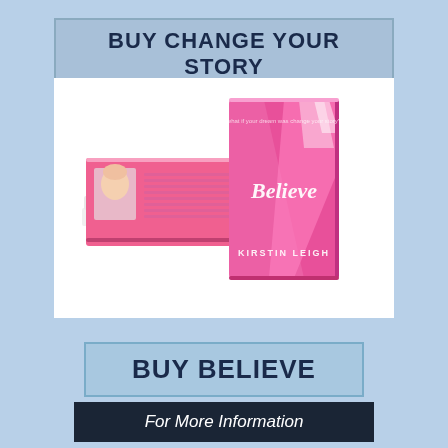BUY CHANGE YOUR STORY
[Figure (photo): Stack of pink books titled 'Believe' by Kirstin Leigh, with the front cover visible showing the title in script font on a pink background with light streaks]
BUY BELIEVE
For More Information